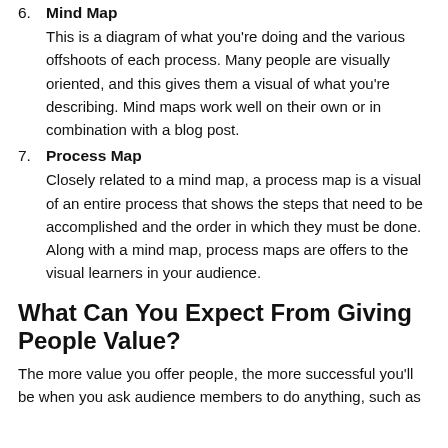6. Mind Map
This is a diagram of what you’re doing and the various offshoots of each process. Many people are visually oriented, and this gives them a visual of what you’re describing. Mind maps work well on their own or in combination with a blog post.
7. Process Map
Closely related to a mind map, a process map is a visual of an entire process that shows the steps that need to be accomplished and the order in which they must be done. Along with a mind map, process maps are offers to the visual learners in your audience.
What Can You Expect From Giving People Value?
The more value you offer people, the more successful you’ll be when you ask audience members to do anything, such as